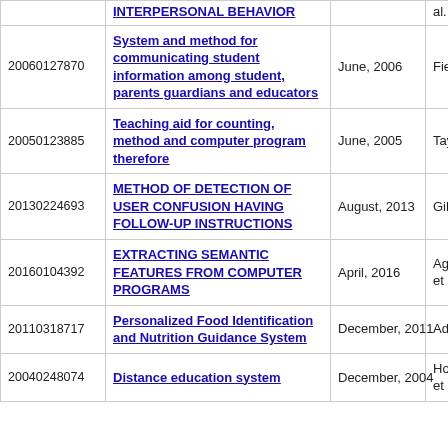| Patent Number | Title | Date | Inventor |
| --- | --- | --- | --- |
|  | INTERPERSONAL BEHAVIOR | al. |  |
| 20060127870 | System and method for communicating student information among student, parents guardians and educators | June, 2006 | Fields et al. |
| 20050123885 | Teaching aid for counting, method and computer program therefore | June, 2005 | Taylor |
| 20130224693 | METHOD OF DETECTION OF USER CONFUSION HAVING FOLLOW-UP INSTRUCTIONS | August, 2013 | Gilling et al. |
| 20160104392 | EXTRACTING SEMANTIC FEATURES FROM COMPUTER PROGRAMS | April, 2016 | Aggarwal et al. |
| 20110318717 | Personalized Food Identification and Nutrition Guidance System | December, 2011 | Adamowicz |
| 20040248074 | Distance education system | December, 2004 | Hoyashita et al. |